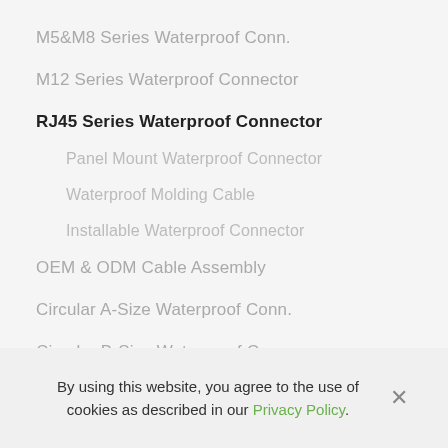M5&M8 Series Waterproof Conn.
M12 Series Waterproof Connector
RJ45 Series Waterproof Connector
Panel Mount Waterproof Connector
Waterproof Molding Cable
Installable Waterproof Connector
OEM & ODM Cable Assembly
Circular A-Size Waterproof Conn.
Circular B-Size Waterproof Conn.
Circular C-Size Waterproof Conn.
Circular D-Size Waterproof Conn.
By using this website, you agree to the use of cookies as described in our Privacy Policy.